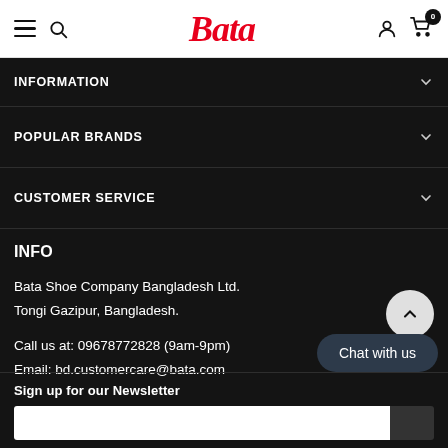Bata — navigation bar with hamburger menu, search, logo, user icon, cart (0)
INFORMATION
POPULAR BRANDS
CUSTOMER SERVICE
INFO
Bata Shoe Company Bangladesh Ltd.
Tongi Gazipur, Bangladesh.
Call us at: 09678772828 (9am-9pm)
Email: bd.customercare@bata.com
Sign up for our Newsletter